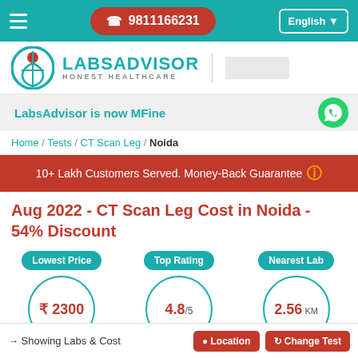☎ 9811166231 | English
[Figure (logo): LabsAdvisor Honest Healthcare logo with teal circular emblem and location pin icon]
LabsAdvisor is now MFine
Home / Tests / CT Scan Leg / Noida
10+ Lakh Customers Served. Money-Back Guarantee
Aug 2022 - CT Scan Leg Cost in Noida - 54% Discount
Lowest Price: ₹ 2300 | Top Rating: 4.8/5 | Nearest Lab: 2.56 KM
→ Showing Labs & Cost | Location | Change Test